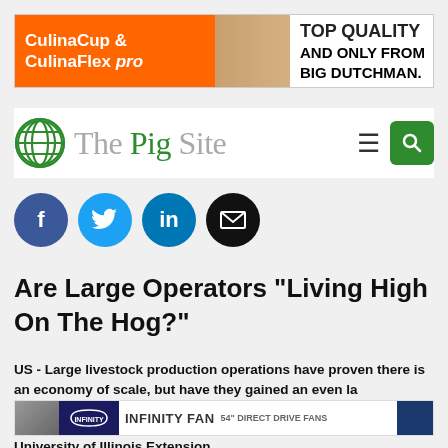[Figure (other): Advertisement banner for CulinaCup & CulinaFlex pro with text TOP QUALITY AND ONLY FROM BIG DUTCHMAN.]
[Figure (logo): The Pig Site logo with green globe icon and site name, plus hamburger menu and green search button]
[Figure (other): Social media share buttons: Facebook (f), Twitter (bird), LinkedIn (in), Email (envelope)]
Are Large Operators "Living High On The Hog?"
US - Large livestock production operations have proven there is an economy of scale, but have they gained an even larger advantage over their smaller counterparts? A report from the University of Illinois Extension.
[Figure (other): Inline advertisement: INFINITY FAN 54" DIRECT DRIVE FANS]